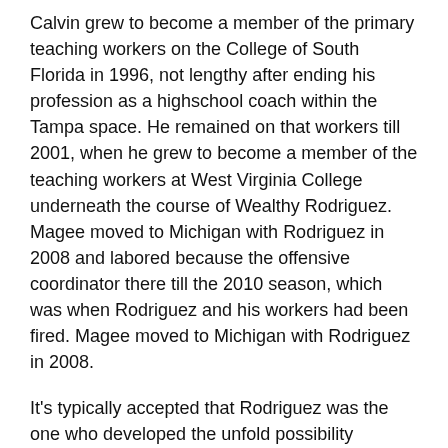Calvin grew to become a member of the primary teaching workers on the College of South Florida in 1996, not lengthy after ending his profession as a highschool coach within the Tampa space. He remained on that workers till 2001, when he grew to become a member of the teaching workers at West Virginia College underneath the course of Wealthy Rodriguez. Magee moved to Michigan with Rodriguez in 2008 and labored because the offensive coordinator there till the 2010 season, which was when Rodriguez and his workers had been fired. Magee moved to Michigan with Rodriguez in 2008.
It's typically accepted that Rodriguez was the one who developed the unfold possibility offense, which Magee utilized in each West Virginia and Michigan. This offense is utilized by tens of hundreds of excessive faculties and even some college groups. Magee was thought-about for the Broyles Award in 2007, which is given to the one who's the highest collegiate assistant coach.